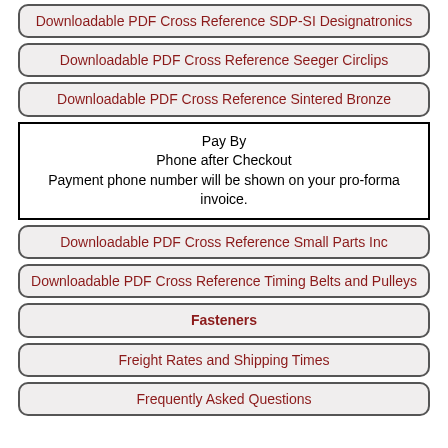Downloadable PDF Cross Reference SDP-SI Designatronics
Downloadable PDF Cross Reference Seeger Circlips
Downloadable PDF Cross Reference Sintered Bronze
Pay By Phone after Checkout
Payment phone number will be shown on your pro-forma invoice.
Downloadable PDF Cross Reference Small Parts Inc
Downloadable PDF Cross Reference Timing Belts and Pulleys
Fasteners
Freight Rates and Shipping Times
Frequently Asked Questions